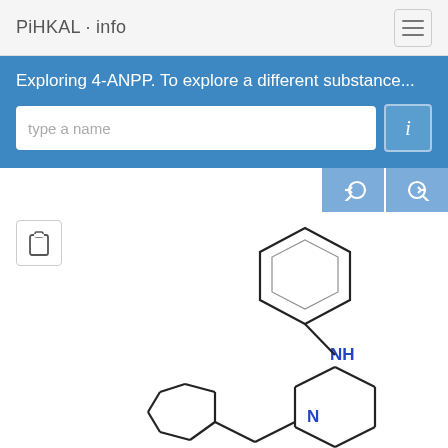PiHKAL · info
Exploring 4-ANPP. To explore a different substance...
[Figure (schematic): Chemical structure of 4-ANPP: a piperidine ring with an N-phenethyl group at position 1 and an N-phenylamino group (NH) at position 4, showing a benzene ring at the top connected via NH to the piperidine ring, and a phenethyl chain at the bottom left connected to the piperidine nitrogen (N in blue).]